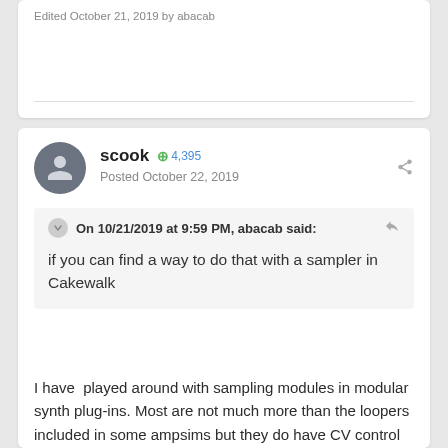Edited October 21, 2019 by abacab
scook  +4,395
Posted October 22, 2019
On 10/21/2019 at 9:59 PM, abacab said:
if you can find a way to do that with a sampler in Cakewalk
I have  played around with sampling modules in modular synth plug-ins. Most are not much more than the loopers included in some ampsims but they do have CV control for most of their features including pitch which may be mapped to MIDI. They will sample audio when placed in an audio FX rack just like ampsim plug-ins with built-in loopers (or regular looper plug-ins). Why this does not